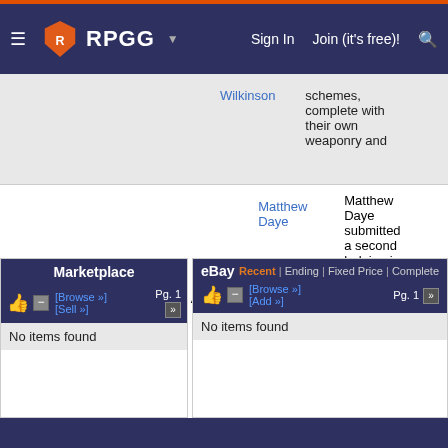RPGG | Sign In | Join (it's free)!
Wilkinson schemes, complete with their own weaponry and
Pg. 101 | There's Gold in them thar Hills! | Article | Matthew Daye | Matthew Daye submitted a second helping in his spare time, in his attempt to explain where the Coalition States | Edit
Marketplace | Browse » | Sell » | Pg. 1 | No items found
eBay | Recent | Ending | Fixed Price | Complete | Browse » | Add » | Pg. 1 | No items found